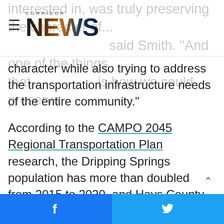CORRIDOR NEWS
interested in, was truly preserving the character of... said Smith. "And one of the things that... is how we could preserve character while also trying to address the transportation infrastructure needs of the entire community."
According to the CAMPO 2045 Regional Transportation Plan research, the Dripping Springs population has more than doubled from 2015 to 2020, and Hays County anticipates to grow 267% by 2045. Employment growth in the region is projected to reach a 221% increase.
Cantalupo said the need for additional roadway capacity south and west of Dripping Springs has